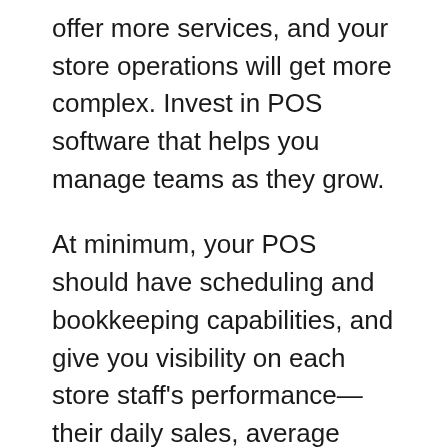offer more services, and your store operations will get more complex. Invest in POS software that helps you manage teams as they grow.
At minimum, your POS should have scheduling and bookkeeping capabilities, and give you visibility on each store staff's performance—their daily sales, average transaction value, and average units per transaction, for example.
Staff roles and permissions also make it easier to manage your retail staff. With them, you can set boundaries on what store associates can and do without manager approval–like changing a product's price or applying a